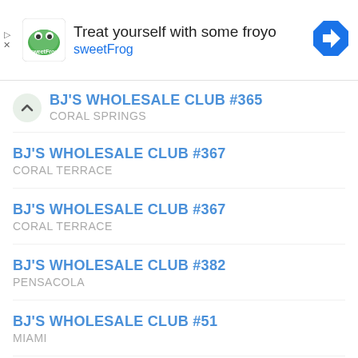[Figure (screenshot): Advertisement banner for sweetFrog frozen yogurt with logo, text 'Treat yourself with some froyo', brand name 'sweetFrog', navigation icon, and ad controls]
BJ'S WHOLESALE CLUB #365
CORAL SPRINGS
BJ'S WHOLESALE CLUB #367
CORAL TERRACE
BJ'S WHOLESALE CLUB #367
CORAL TERRACE
BJ'S WHOLESALE CLUB #382
PENSACOLA
BJ'S WHOLESALE CLUB #51
MIAMI
BJ'S WHOLESALE CLUB #51
MIAMI